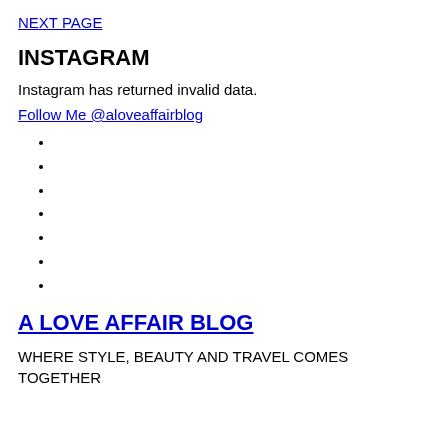NEXT PAGE
INSTAGRAM
Instagram has returned invalid data.
Follow Me @aloveaffairblog
A LOVE AFFAIR BLOG
WHERE STYLE, BEAUTY AND TRAVEL COMES TOGETHER